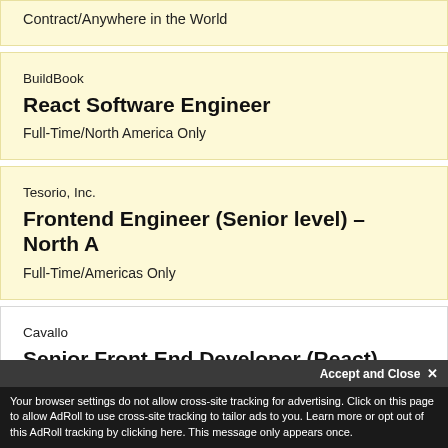Contract/Anywhere in the World
BuildBook
React Software Engineer
Full-Time/North America Only
Tesorio, Inc.
Frontend Engineer (Senior level) – North A
Full-Time/Americas Only
Cavallo
Senior Front End Developer (React)
Accept and Close ✕
Your browser settings do not allow cross-site tracking for advertising. Click on this page to allow AdRoll to use cross-site tracking to tailor ads to you. Learn more or opt out of this AdRoll tracking by clicking here. This message only appears once.